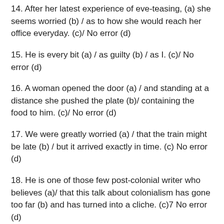14. After her latest experience of eve-teasing, (a) she seems worried (b) / as to how she would reach her office everyday. (c)/ No error (d)
15. He is every bit (a) / as guilty (b) / as I. (c)/ No error (d)
16. A woman opened the door (a) / and standing at a distance she pushed the plate (b)/ containing the food to him. (c)/ No error (d)
17. We were greatly worried (a) / that the train might be late (b) / but it arrived exactly in time. (c) No error (d)
18. He is one of those few post-colonial writer who believes (a)/ that this talk about colonialism has gone too far (b) and has turned into a cliche. (c)7 No error (d)